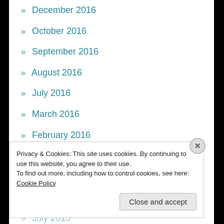» December 2016
» October 2016
» September 2016
» August 2016
» July 2016
» March 2016
» February 2016
» January 2016
» December 2015
» October 2015
» July 2015
Privacy & Cookies: This site uses cookies. By continuing to use this website, you agree to their use.
To find out more, including how to control cookies, see here: Cookie Policy